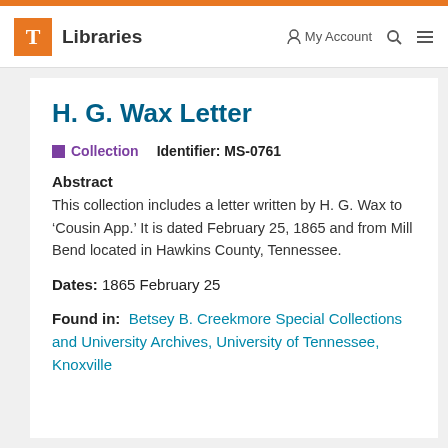T Libraries | My Account | Search | Menu
H. G. Wax Letter
Collection  Identifier: MS-0761
Abstract
This collection includes a letter written by H. G. Wax to ‘Cousin App.’ It is dated February 25, 1865 and from Mill Bend located in Hawkins County, Tennessee.
Dates: 1865 February 25
Found in: Betsey B. Creekmore Special Collections and University Archives, University of Tennessee, Knoxville